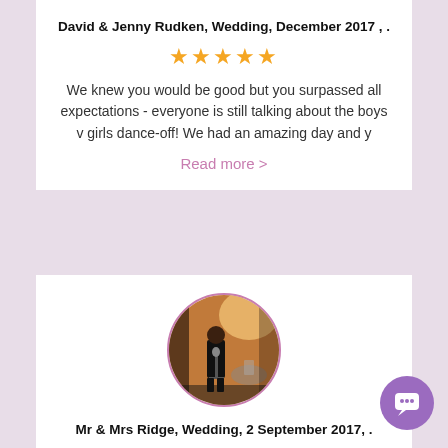David & Jenny Rudken, Wedding, December 2017 , .
[Figure (other): Five gold stars rating]
We knew you would be good but you surpassed all expectations - everyone is still talking about the boys v girls dance-off! We had an amazing day and y
Read more >
[Figure (photo): Circular profile photo of a performer on stage with microphone, warm stage lighting, drum kit visible in background]
Mr & Mrs Ridge, Wedding, 2 September 2017, .
[Figure (other): Five gold stars rating]
p.p1 {margin: 0.0px 0.0px 0.0px 0.0px; font: 12.0p Helvetica; color: #454545}Hey guys, just wanted to